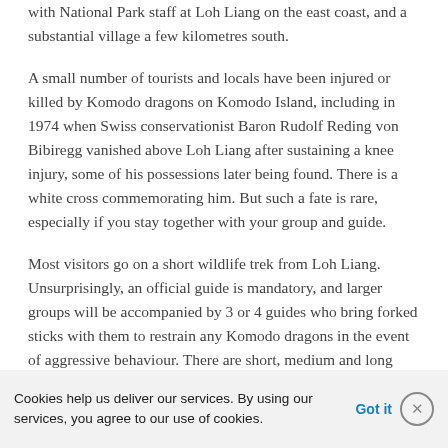with National Park staff at Loh Liang on the east coast, and a substantial village a few kilometres south.
A small number of tourists and locals have been injured or killed by Komodo dragons on Komodo Island, including in 1974 when Swiss conservationist Baron Rudolf Reding von Bibiregg vanished above Loh Liang after sustaining a knee injury, some of his possessions later being found. There is a white cross commemorating him. But such a fate is rare, especially if you stay together with your group and guide.
Most visitors go on a short wildlife trek from Loh Liang. Unsurprisingly, an official guide is mandatory, and larger groups will be accompanied by 3 or 4 guides who bring forked sticks with them to restrain any Komodo dragons in the event of aggressive behaviour. There are short, medium and long treks available, all requiring an hour or two and usually including a visit to a water hole where the animals of the island often…
Cookies help us deliver our services. By using our services, you agree to our use of cookies. Got it